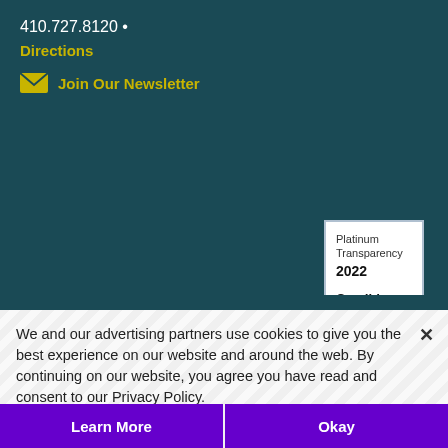410.727.8120  •
Directions
Join Our Newsletter
[Figure (other): Platinum Transparency 2022 Candid. badge — white box with light blue border]
Copyright ©2022 Port Discovery
Privacy Policy
We and our advertising partners use cookies to give you the best experience on our website and around the web. By continuing on our website, you agree you have read and consent to our Privacy Policy.
Learn More
Okay